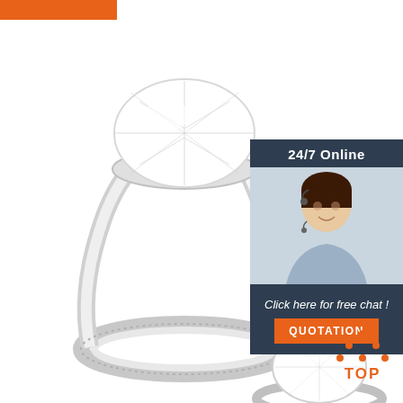[Figure (illustration): Orange banner bar at top left]
[Figure (photo): Large diamond engagement ring photo showing two sparkling diamond rings with pave-set band on white background]
[Figure (infographic): Sidebar box with dark navy background containing: '24/7 Online' header, photo of smiling female customer service agent with headset, text 'Click here for free chat!', and orange QUOTATION button]
[Figure (logo): Orange TOP icon with upward arrow dots above the word TOP in orange text, bottom right corner]